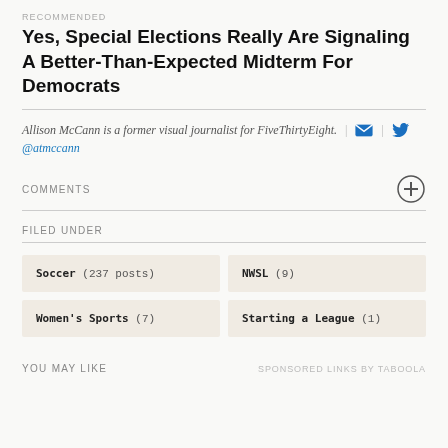RECOMMENDED
Yes, Special Elections Really Are Signaling A Better-Than-Expected Midterm For Democrats
Allison McCann is a former visual journalist for FiveThirtyEight.
@atmccann
COMMENTS
FILED UNDER
Soccer (237 posts)
NWSL (9)
Women's Sports (7)
Starting a League (1)
YOU MAY LIKE   SPONSORED LINKS BY TABOOLA